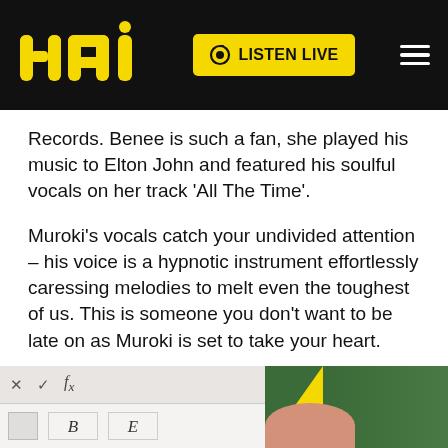mai FM — LISTEN LIVE
Records. Benee is such a fan, she played his music to Elton John and featured his soulful vocals on her track 'All The Time'.
Muroki's vocals catch your undivided attention – his voice is a hypnotic instrument effortlessly caressing melodies to melt even the toughest of us. This is someone you don't want to be late on as Muroki is set to take your heart.
[Figure (screenshot): Bottom strip showing a spreadsheet formula bar on the left and a partial photo of a person outdoors on the right, with a yellow diagonal element]